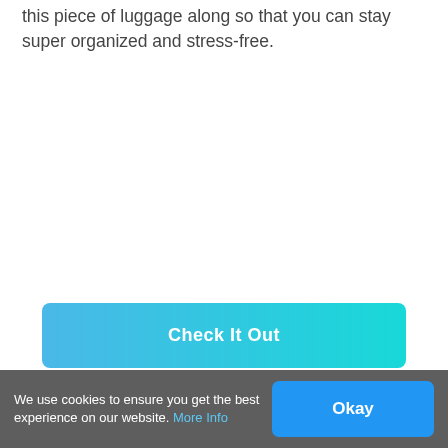this piece of luggage along so that you can stay super organized and stress-free.
Check It Out
We use cookies to ensure you get the best experience on our website. More Info
Okay